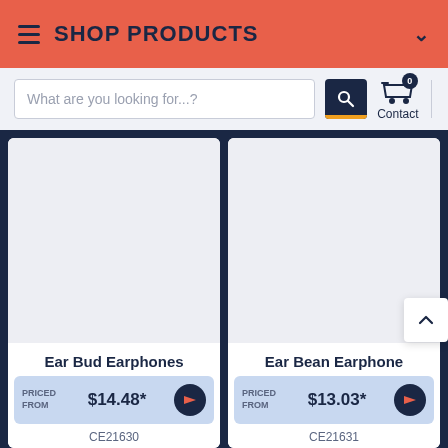SHOP PRODUCTS
What are you looking for...?
0 Contact
Ear Bud Earphones PRICED FROM $14.48* CE21630
Ear Bean Earphone PRICED FROM $13.03* CE21631